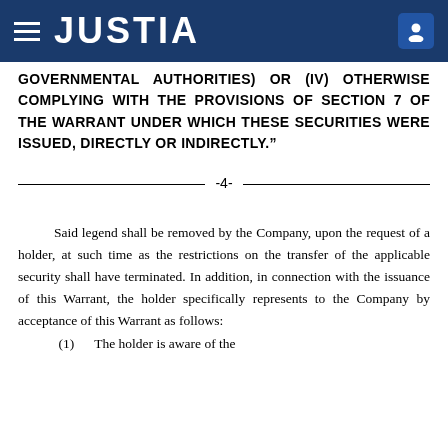JUSTIA
GOVERNMENTAL AUTHORITIES) OR (IV) OTHERWISE COMPLYING WITH THE PROVISIONS OF SECTION 7 OF THE WARRANT UNDER WHICH THESE SECURITIES WERE ISSUED, DIRECTLY OR INDIRECTLY.”
-4-
Said legend shall be removed by the Company, upon the request of a holder, at such time as the restrictions on the transfer of the applicable security shall have terminated. In addition, in connection with the issuance of this Warrant, the holder specifically represents to the Company by acceptance of this Warrant as follows:
(1)      The holder is aware of the